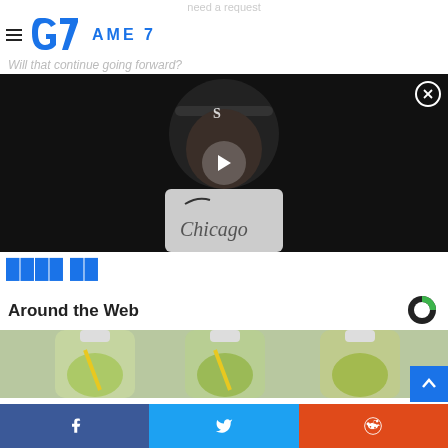need a request
[Figure (logo): Game 7 logo with stylized G icon in blue and text 'AME 7']
Will that continue going forward?
[Figure (screenshot): Video thumbnail showing a Chicago White Sox player/manager in dugout with play button overlay and close button]
partial blue text (partially visible article text)
Around the Web
[Figure (photo): Photo of three inverted plastic bottles with green liquid and lemon slices inside]
[Figure (logo): Taboola logo (circular C-shaped icon in green and black)]
[Figure (infographic): Social share bar with Facebook, Twitter, and Reddit buttons]